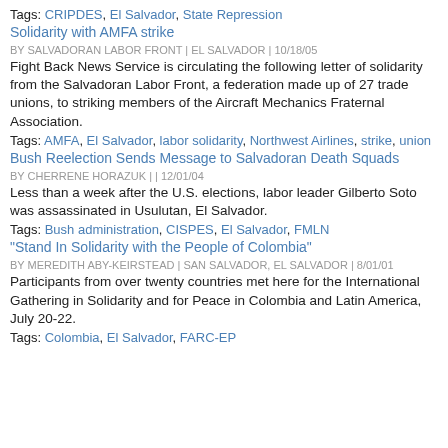Tags: CRIPDES, El Salvador, State Repression
Solidarity with AMFA strike
BY SALVADORAN LABOR FRONT | EL SALVADOR | 10/18/05
Fight Back News Service is circulating the following letter of solidarity from the Salvadoran Labor Front, a federation made up of 27 trade unions, to striking members of the Aircraft Mechanics Fraternal Association.
Tags: AMFA, El Salvador, labor solidarity, Northwest Airlines, strike, union
Bush Reelection Sends Message to Salvadoran Death Squads
BY CHERRENE HORAZUK | | 12/01/04
Less than a week after the U.S. elections, labor leader Gilberto Soto was assassinated in Usulutan, El Salvador.
Tags: Bush administration, CISPES, El Salvador, FMLN
"Stand In Solidarity with the People of Colombia"
BY MEREDITH ABY-KEIRSTEAD | SAN SALVADOR, EL SALVADOR | 8/01/01
Participants from over twenty countries met here for the International Gathering in Solidarity and for Peace in Colombia and Latin America, July 20-22.
Tags: Colombia, El Salvador, FARC-EP